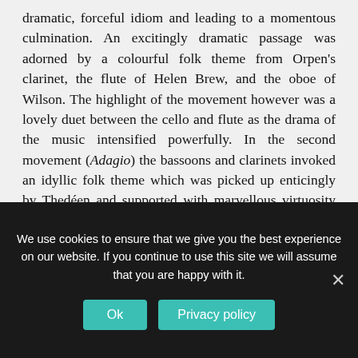dramatic, forceful idiom and leading to a momentous culmination. An excitingly dramatic passage was adorned by a colourful folk theme from Orpen's clarinet, the flute of Helen Brew, and the oboe of Wilson. The highlight of the movement however was a lovely duet between the cello and flute as the drama of the music intensified powerfully. In the second movement (Adagio) the bassoons and clarinets invoked an idyllic folk theme which was picked up enticingly by Thedéen and supported with marvellous virtuosity by the orchestra, leading to the composer's own song 'Leave me Alone' in memory of his sister Josefina. In the Finale: Allegro moderato, there was a
We use cookies to ensure that we give you the best experience on our website. If you continue to use this site we will assume that you are happy with it.